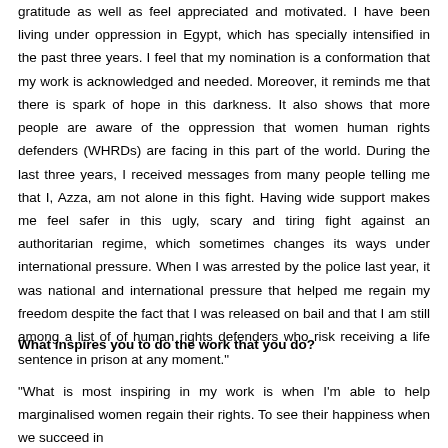gratitude as well as feel appreciated and motivated. I have been living under oppression in Egypt, which has specially intensified in the past three years. I feel that my nomination is a conformation that my work is acknowledged and needed. Moreover, it reminds me that there is spark of hope in this darkness. It also shows that more people are aware of the oppression that women human rights defenders (WHRDs) are facing in this part of the world. During the last three years, I received messages from many people telling me that I, Azza, am not alone in this fight. Having wide support makes me feel safer in this ugly, scary and tiring fight against an authoritarian regime, which sometimes changes its ways under international pressure. When I was arrested by the police last year, it was national and international pressure that helped me regain my freedom despite the fact that I was released on bail and that I am still among a list of of human rights defenders who risk receiving a life sentence in prison at any moment."
What inspires you to do the work that you do?
"What is most inspiring in my work is when I'm able to help marginalised women regain their rights. To see their happiness when we succeed in